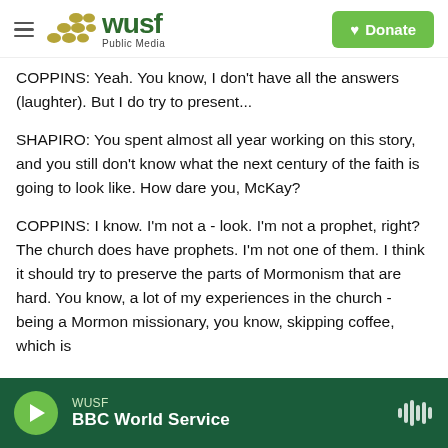WUSF Public Media — Donate
COPPINS: Yeah. You know, I don't have all the answers (laughter). But I do try to present...
SHAPIRO: You spent almost all year working on this story, and you still don't know what the next century of the faith is going to look like. How dare you, McKay?
COPPINS: I know. I'm not a - look. I'm not a prophet, right? The church does have prophets. I'm not one of them. I think it should try to preserve the parts of Mormonism that are hard. You know, a lot of my experiences in the church - being a Mormon missionary, you know, skipping coffee, which is
WUSF — BBC World Service